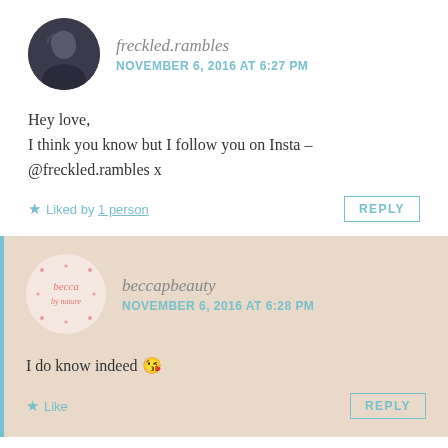[Figure (photo): User avatar photo of freckled.rambles - circular cropped photo of a person with dark hair]
freckled.rambles
NOVEMBER 6, 2016 AT 6:27 PM
Hey love,
I think you know but I follow you on Insta –
@freckled.rambles x
★ Liked by 1 person
REPLY
[Figure (logo): User avatar logo for beccapbeauty - circular pink badge with 'becca by nature' handwritten text]
beccapbeauty
NOVEMBER 6, 2016 AT 6:28 PM
I do know indeed 😘
★ Like
REPLY